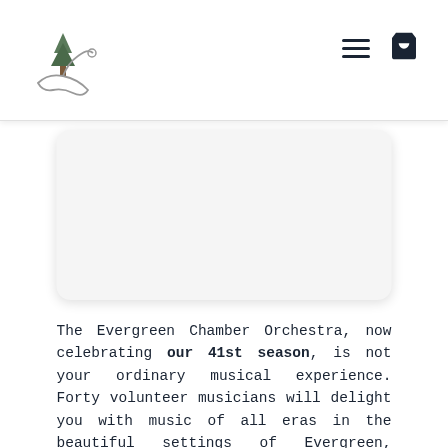Evergreen Chamber Orchestra website header with logo and navigation icons
[Figure (photo): A white rectangular card with rounded corners and a light gray background area, likely containing an image of the orchestra or venue.]
The Evergreen Chamber Orchestra, now celebrating our 41st season, is not your ordinary musical experience. Forty volunteer musicians will delight you with music of all eras in the beautiful settings of Evergreen, Arvada, and Conifer.
Our Masterworks Concert Series – always on Saturday and Sunday – will inspire and entertain you with music from the concert stage and original...